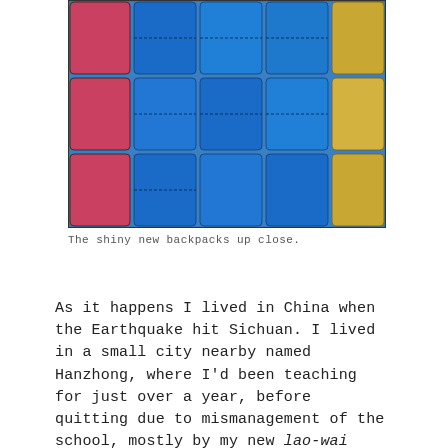[Figure (photo): Close-up photo of shiny new backpacks in blue, red/pink, and gold/yellow colors, arranged in rows, showing their glossy fabric texture.]
The shiny new backpacks up close.
As it happens I lived in China when the Earthquake hit Sichuan. I lived in a small city nearby named Hanzhong, where I'd been teaching for just over a year, before quitting due to mismanagement of the school, mostly by my new lao-wai (foreign) manager. This is immaterial to the article, but, one of the most bizarre coincidences of my life. The